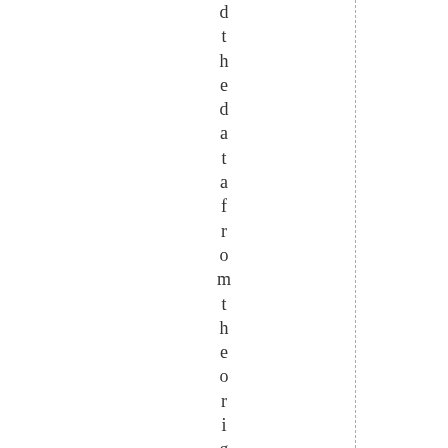d t h e d a t a f r o m t h e o r i g i n a l s o